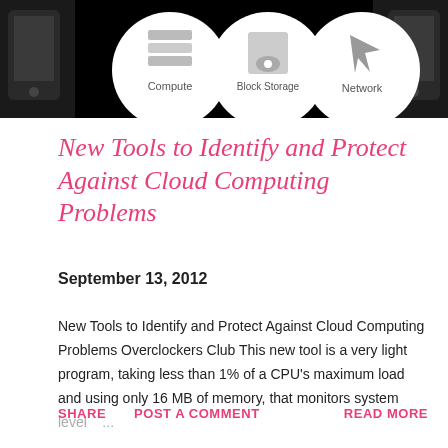[Figure (screenshot): Black banner with three white circular bubbles showing cloud computing icons: Compute (server icon), Block Storage (hard drive icon), Network (network icon), with partial mobile phone images on the sides.]
New Tools to Identify and Protect Against Cloud Computing Problems
September 13, 2012
New Tools to Identify and Protect Against Cloud Computing Problems Overclockers Club This new tool is a very light program, taking less than 1% of a CPU's maximum load and using only 16 MB of memory, that monitors system level ...
SHARE   POST A COMMENT   READ MORE